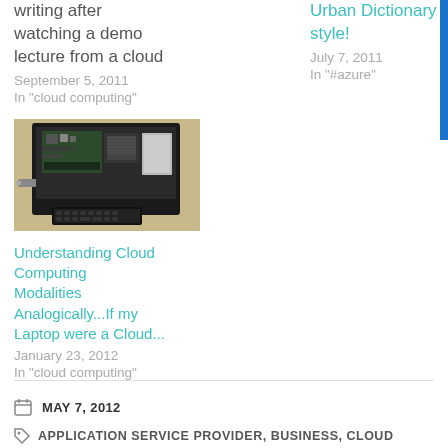writing after watching a demo lecture from a cloud
September 5, 2011
In "cloud computing"
Urban Dictionary style!
July 7, 2011
In "#azure"
[Figure (photo): Open laptop with exposed internals on a desk, keyboard visible in foreground]
Understanding Cloud Computing Modalities Analogically...If my Laptop were a Cloud...
January 23, 2012
In "cloud computing"
MAY 7, 2012
APPLICATION SERVICE PROVIDER, BUSINESS, CLOUD